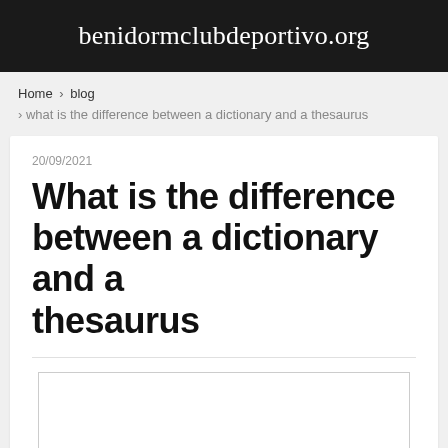benidormclubdeportivo.org
Home › blog › what is the difference between a dictionary and a thesaurus
20/09/2021
What is the difference between a dictionary and a thesaurus
[Figure (other): Empty white rectangle with border, likely an image placeholder]